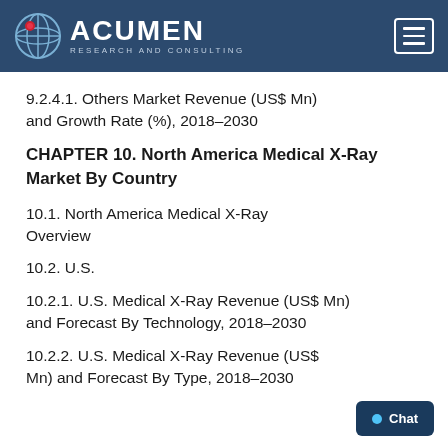Acumen Research and Consulting
9.2.4.1. Others Market Revenue (US$ Mn) and Growth Rate (%), 2018–2030
CHAPTER 10. North America Medical X-Ray Market By Country
10.1. North America Medical X-Ray Overview
10.2. U.S.
10.2.1. U.S. Medical X-Ray Revenue (US$ Mn) and Forecast By Technology, 2018–2030
10.2.2. U.S. Medical X-Ray Revenue (US$ Mn) and Forecast By Type, 2018–2030